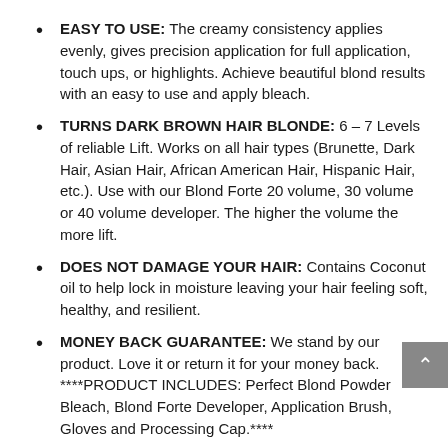EASY TO USE: The creamy consistency applies evenly, gives precision application for full application, touch ups, or highlights. Achieve beautiful blond results with an easy to use and apply bleach.
TURNS DARK BROWN HAIR BLONDE: 6 – 7 Levels of reliable Lift. Works on all hair types (Brunette, Dark Hair, Asian Hair, African American Hair, Hispanic Hair, etc.). Use with our Blond Forte 20 volume, 30 volume or 40 volume developer. The higher the volume the more lift.
DOES NOT DAMAGE YOUR HAIR: Contains Coconut oil to help lock in moisture leaving your hair feeling soft, healthy, and resilient.
MONEY BACK GUARANTEE: We stand by our product. Love it or return it for your money back. ****PRODUCT INCLUDES: Perfect Blond Powder Bleach, Blond Forte Developer, Application Brush, Gloves and Processing Cap.****